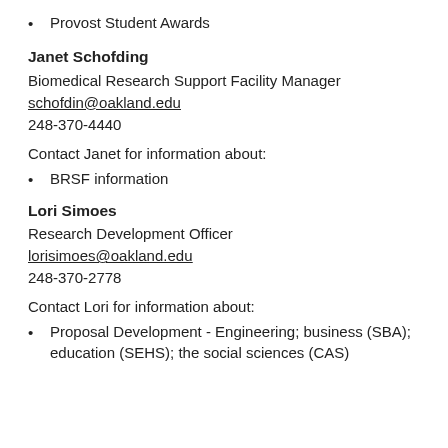Provost Student Awards
Janet Schofding
Biomedical Research Support Facility Manager
schofdin@oakland.edu
248-370-4440
Contact Janet for information about:
BRSF information
Lori Simoes
Research Development Officer
lorisimoes@oakland.edu
248-370-2778
Contact Lori for information about:
Proposal Development - Engineering; business (SBA); education (SEHS); the social sciences (CAS)